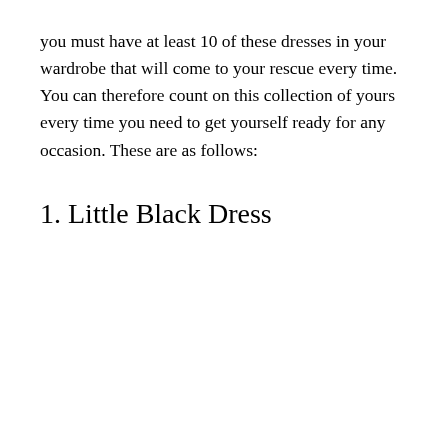you must have at least 10 of these dresses in your wardrobe that will come to your rescue every time. You can therefore count on this collection of yours every time you need to get yourself ready for any occasion. These are as follows:
1. Little Black Dress